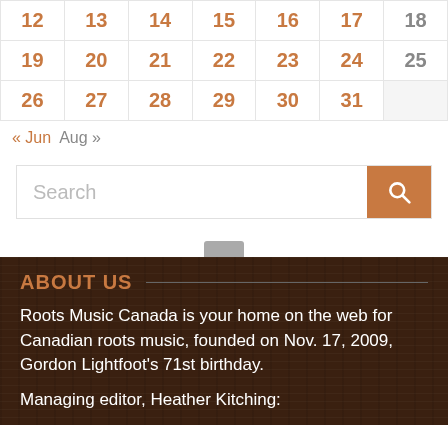| 12 | 13 | 14 | 15 | 16 | 17 | 18 |
| 19 | 20 | 21 | 22 | 23 | 24 | 25 |
| 26 | 27 | 28 | 29 | 30 | 31 |  |
« Jun   Aug »
[Figure (screenshot): Search input box with orange search button]
ABOUT US
Roots Music Canada is your home on the web for Canadian roots music, founded on Nov. 17, 2009, Gordon Lightfoot's 71st birthday.
Managing editor, Heather Kitching: